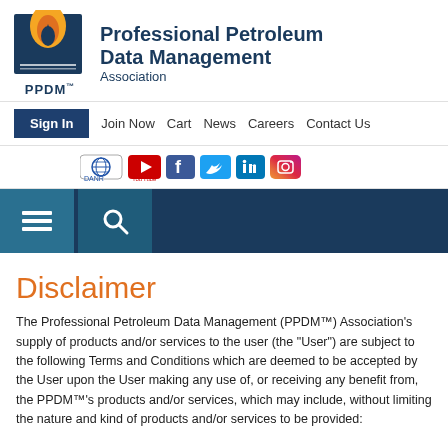[Figure (logo): PPDM Association logo: flame icon with gold/orange and dark blue, PPDM™ text below, alongside 'Professional Petroleum Data Management Association' text]
Sign In  Join Now  Cart  News  Careers  Contact Us
[Figure (infographic): Social media icons: DANR globe, YouTube, Facebook, Twitter, LinkedIn, Instagram]
[Figure (infographic): Dark navigation bar with hamburger menu icon and search icon buttons]
Disclaimer
The Professional Petroleum Data Management (PPDM™) Association's supply of products and/or services to the user (the "User") are subject to the following Terms and Conditions which are deemed to be accepted by the User upon the User making any use of, or receiving any benefit from, the PPDM™'s products and/or services, which may include, without limiting the nature and kind of products and/or services to be provided: